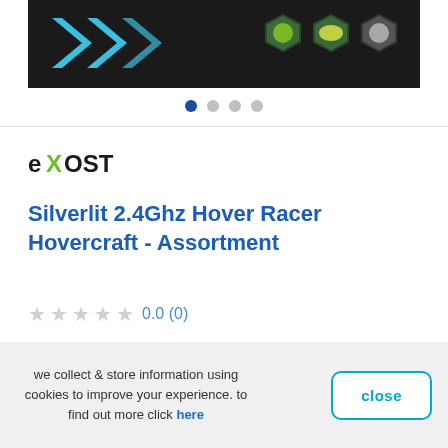[Figure (photo): Product banner image showing Exost Hover Racer Hovercraft box art with blue chevron arrows on dark background and three hexagonal thumbnail images of the toy on the right side]
[Figure (other): Carousel navigation dots: 4 dots with first one filled blue (active) and remaining three grey]
[Figure (logo): EXOST brand logo in black bold text with a green X and lightning bolt]
Silverlit 2.4Ghz Hover Racer Hovercraft - Assortment
0.0 (0)
we collect & store information using cookies to improve your experience. to find out more click here